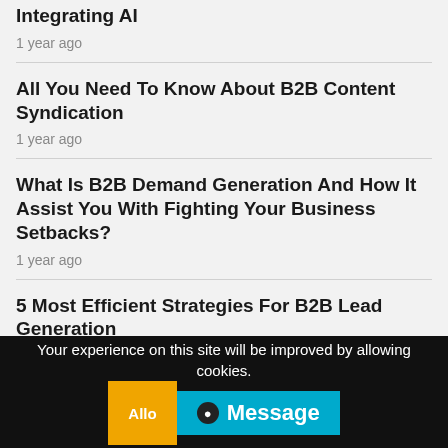Integrating AI
1 year ago
All You Need To Know About B2B Content Syndication
1 year ago
What Is B2B Demand Generation And How It Assist You With Fighting Your Business Setbacks?
1 year ago
5 Most Efficient Strategies For B2B Lead Generation
Your experience on this site will be improved by allowing cookies.
Message